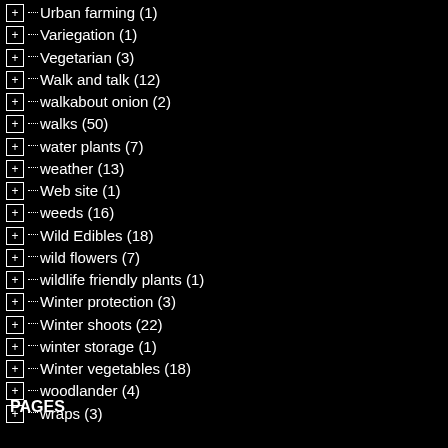Urban farming (1)
Variegation (1)
Vegetarian (3)
Walk and talk (12)
walkabout onion (2)
walks (50)
water plants (7)
weather (13)
Web site (1)
weeds (16)
Wild Edibles (18)
wild flowers (7)
wildlife friendly plants (1)
Winter protection (3)
Winter shoots (22)
winter storage (1)
Winter vegetables (18)
woodlander (4)
wraps (3)
PAGES